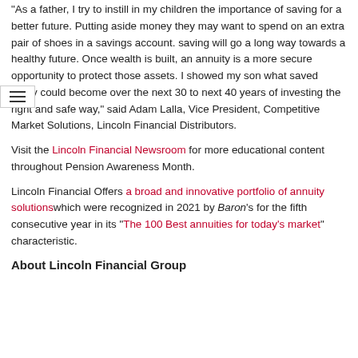“As a father, I try to instill in my children the importance of saving for a better future. Putting aside money they may want to spend on an extra pair of shoes in a savings account. saving will go a long way towards a healthy future. Once wealth is built, an annuity is a more secure opportunity to protect those assets. I showed my son what saved today could become over the next 30 to next 40 years of investing the right and safe way,” said Adam Lalla, Vice President, Competitive Market Solutions, Lincoln Financial Distributors.
Visit the Lincoln Financial Newsroom for more educational content throughout Pension Awareness Month.
Lincoln Financial Offers a broad and innovative portfolio of annuity solutions which were recognized in 2021 by Baron’s for the fifth consecutive year in its “The 100 Best annuities for today’s market” characteristic.
About Lincoln Financial Group